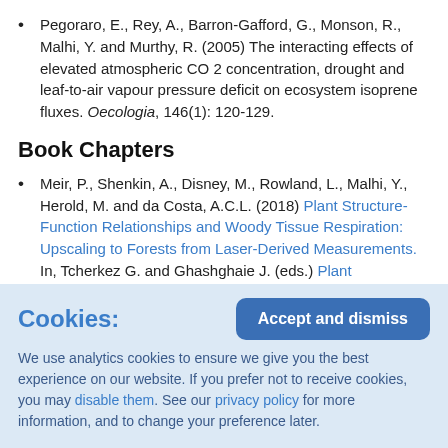Pegoraro, E., Rey, A., Barron-Gafford, G., Monson, R., Malhi, Y. and Murthy, R. (2005) The interacting effects of elevated atmospheric CO 2 concentration, drought and leaf-to-air vapour pressure deficit on ecosystem isoprene fluxes. Oecologia, 146(1): 120-129.
Book Chapters
Meir, P., Shenkin, A., Disney, M., Rowland, L., Malhi, Y., Herold, M. and da Costa, A.C.L. (2018) Plant Structure-Function Relationships and Woody Tissue Respiration: Upscaling to Forests from Laser-Derived Measurements. In, Tcherkez G. and Ghashghaie J. (eds.) Plant Respiration: Metabolic Fluxes and Carbon Balance. Advances in Photosynthesis and Respiration (Including Bioenergy and Related Processes). Springer. Cham. ISBN: 978-3-319-68703-2
Cookies: We use analytics cookies to ensure we give you the best experience on our website. If you prefer not to receive cookies, you may disable them. See our privacy policy for more information, and to change your preference later.